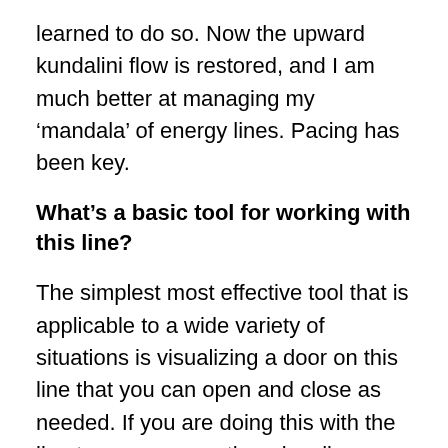learned to do so. Now the upward kundalini flow is restored, and I am much better at managing my ‘mandala’ of energy lines. Pacing has been key.
What’s a basic tool for working with this line?
The simplest most effective tool that is applicable to a wide variety of situations is visualizing a door on this line that you can open and close as needed. If you are doing this with the line to your own mother visualize a line from your navel to your mother’s sacral chakra area. If you are doing it with your own children, visualize lines from your sacral area to their navels (with multiple children it really is like a mandala, with you in the center.) Imagine there is a door on this line close to your own body. Visualize closing this door, and a settling of energy when you do so – a quieting, like when you close the door to a room and can no longer